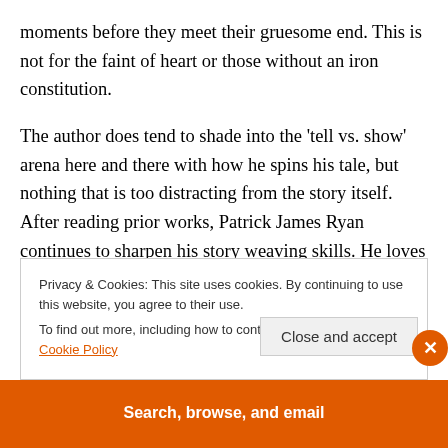moments before they meet their gruesome end. This is not for the faint of heart or those without an iron constitution.
The author does tend to shade into the 'tell vs. show' arena here and there with how he spins his tale, but nothing that is too distracting from the story itself. After reading prior works, Patrick James Ryan continues to sharpen his story weaving skills. He loves playing on the nostalgia elicited by the good old summer days of kids playing baseball and spending their time out in the sun rather than inside playing video games. While I was not in
Privacy & Cookies: This site uses cookies. By continuing to use this website, you agree to their use.
To find out more, including how to control cookies, see here: Cookie Policy
Close and accept
[Figure (other): Orange banner at bottom with text 'Search, browse, and email']